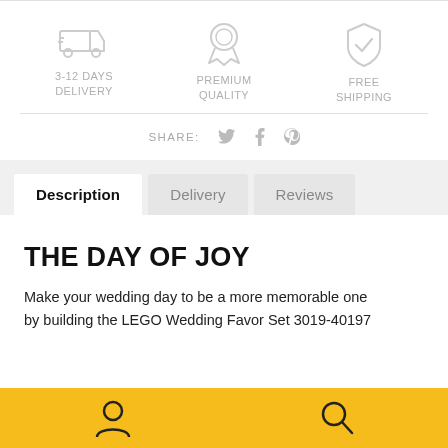[Figure (infographic): Three icons with labels: delivery truck icon with '3-12 DAYS DELIVERY', award/ribbon icon with 'PREMIUM QUALITY', shield icon with 'FREE SHIPPING']
SHARE:
Description | Delivery | Reviews (tabs)
THE DAY OF JOY
Make your wedding day to be a more memorable one by building the LEGO Wedding Favor Set 3019-40197
[Figure (infographic): Bottom navigation bar with user/account icon and search icon on yellow/gold background]